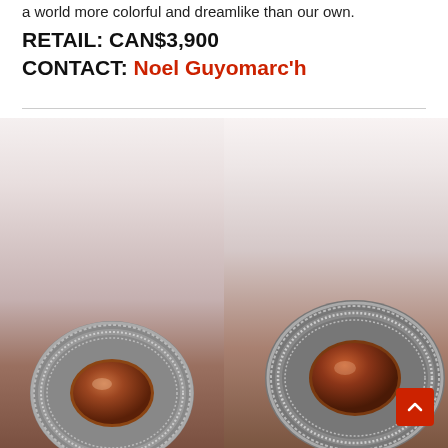a world more colorful and dreamlike than our own.
RETAIL: CAN$3,900
CONTACT: Noel Guyomarc'h
[Figure (photo): Two close-up photographs of silver oval jewelry pieces (rings or brooches) with brown/amber stone centers set in textured silver bezel settings, displayed side by side on a white background.]